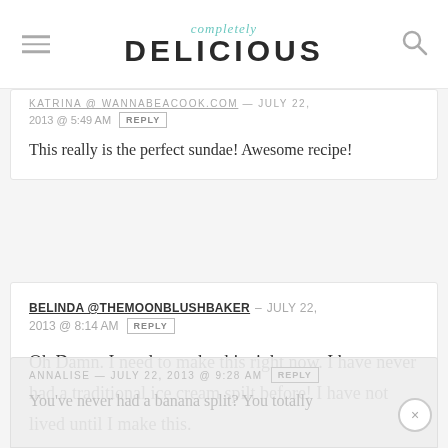completely DELICIOUS
KATRINA @ [REDACTED] — JULY 22, 2013 @ 5:49 AM  REPLY
This really is the perfect sundae! Awesome recipe!
BELINDA @THEMOONBLUSHBAKER — JULY 22, 2013 @ 8:14 AM  REPLY
Oh Damn. I need to make this right now. I have never had a traditional ice cream spilt before! I have not lived until I make this.
ANNALISE — JULY 22, 2013 @ 9:28 AM  REPLY
You've never had a banana split? You totally